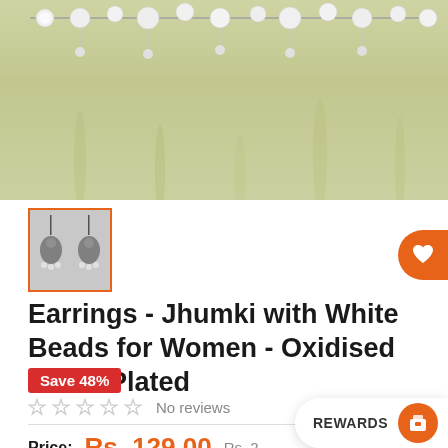[Figure (photo): Top portion of product photo showing white pearl/bead earrings on a jewelry display against a soft green bokeh background]
[Figure (photo): Thumbnail image of Jhumki earrings with white beads, oxidised silver plated, shown selected with orange border]
Earrings - Jhumki with White Beads for Women - Oxidised Silver Plated
Save 48%
No reviews
Price: Rs. 129.00 Rs. 2...
REWARDS